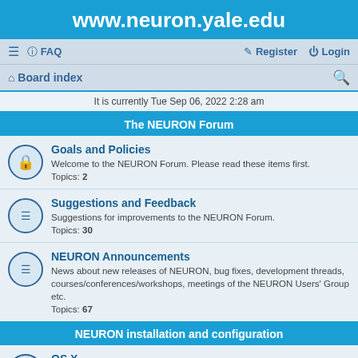www.neuron.yale.edu
≡  FAQ    Register  Login
Board index
It is currently Tue Sep 06, 2022 2:28 am
The NEURON Forum
Goals and Policies
Welcome to the NEURON Forum. Please read these items first.
Topics: 2
Suggestions and Feedback
Suggestions for improvements to the NEURON Forum.
Topics: 30
NEURON Announcements
News about new releases of NEURON, bug fixes, development threads, courses/conferences/workshops, meetings of the NEURON Users' Group etc.
Topics: 67
NEURON installation and configuration
OS X
Topics: 139
MSWin
Topics: 133